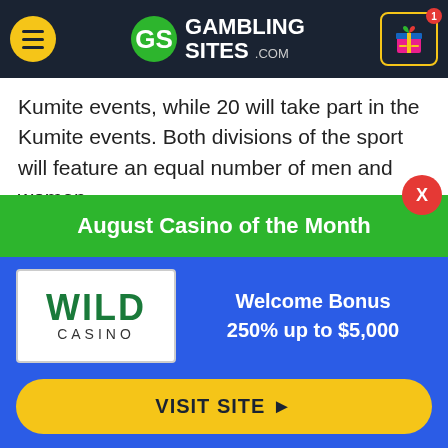GambingSites.com header with menu, logo, and gift icon
Kumite events, while 20 will take part in the Kumite events. Both divisions of the sport will feature an equal number of men and women.
Here is a breakdown of both disciplines.
.
[Figure (screenshot): August Casino of the Month promo panel with Wild Casino logo, Welcome Bonus 250% up to $5,000, and VISIT SITE button]